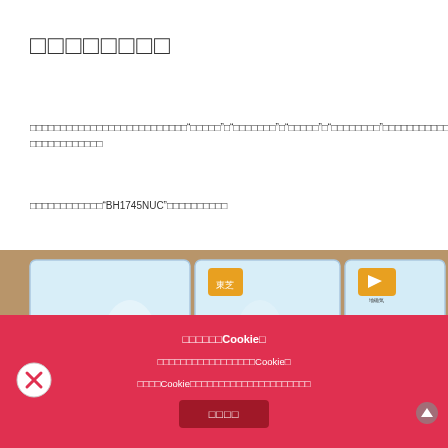□□□□□□□□
□□□□□□□□□□□□□□□□□□□□□□□□□□"□□□□□"□"□□□□□□□"□"□□□□□"□"□□□□□□□□"□□□□□□□□□□□□□□□□□□□□□□□□□□□
□□□□□□□□□□□□"BH1745NUC"□□□□□□□□□□
[Figure (photo): Photo of multiple sensor modules in clear plastic packaging arranged in a grid. Labels visible include 'ALS Sensor B□0521RS' and 'Color Sensor BH1745N...' with Japanese text elements and orange/yellow icons on some packages.]
□□□□□□Cookie□
□□□□□□□□□□□□□□□□□Cookie□
□□□□Cookie□□□□□□□□□□□□□□□□□□□□□
□□□□